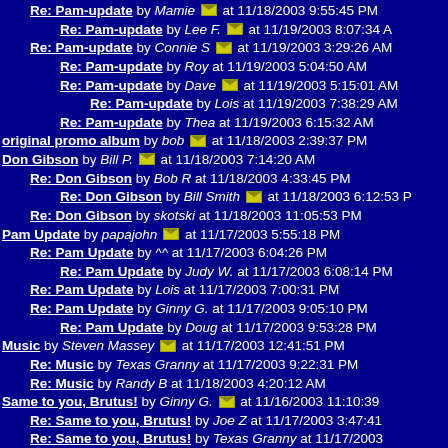Re: Pam-update by Mamie [email] at 11/18/2003 9:55:45 PM
Re: Pam-update by Lee F. [email] at 11/19/2003 8:07:34 A
Re: Pam-update by Connie S [email] at 11/19/2003 3:29:26 AM
Re: Pam-update by Roy at 11/19/2003 5:04:50 AM
Re: Pam-update by Dave [email] at 11/19/2003 5:15:01 AM
Re: Pam-update by Lois at 11/19/2003 7:38:29 AM
Re: Pam-update by Thea at 11/19/2003 6:15:32 AM
original promo album by bob [email] at 11/18/2003 2:39:37 PM
Don Gibson by Bill P. [email] at 11/18/2003 7:14:20 AM
Re: Don Gibson by Bob R at 11/18/2003 4:33:45 PM
Re: Don Gibson by Bill Smith [email] at 11/18/2003 6:12:53 P
Re: Don Gibson by skotski at 11/18/2003 11:05:53 PM
Pam Update by papajohn [email] at 11/17/2003 5:55:18 PM
Re: Pam Update by ^^ at 11/17/2003 6:04:26 PM
Re: Pam Update by Judy W. at 11/17/2003 6:08:14 PM
Re: Pam Update by Lois at 11/17/2003 7:00:31 PM
Re: Pam Update by Ginny G. at 11/17/2003 9:05:10 PM
Re: Pam Update by Doug at 11/17/2003 9:53:28 PM
Music by Steven Massey [email] at 11/17/2003 12:41:51 PM
Re: Music by Texas Granny at 11/17/2003 9:22:31 PM
Re: Music by Randy B at 11/18/2003 4:20:12 AM
Same to you, Brutus! by Ginny G. [email] at 11/16/2003 11:10:39
Re: Same to you, Brutus! by Joe Z at 11/17/2003 3:47:41
Re: Same to you, Brutus! by Texas Granny at 11/17/2003